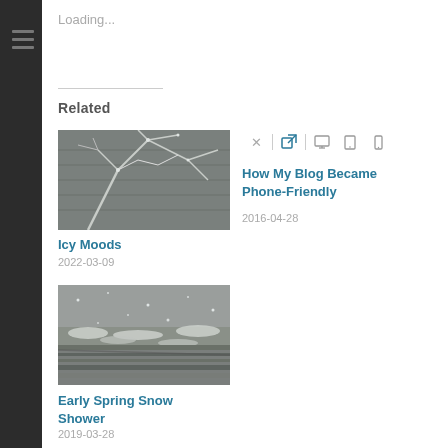Loading...
Related
[Figure (photo): Ice-covered tree branches against a wooden structure background, monochrome winter scene]
Icy Moods
2022-03-09
[Figure (screenshot): Browser toolbar with close X, external link icon (highlighted blue), desktop, tablet, and phone icons]
How My Blog Became Phone-Friendly
2016-04-28
[Figure (photo): Early spring snow shower scene showing snow-dusted green vegetation and ground]
Early Spring Snow Shower
2019-03-28